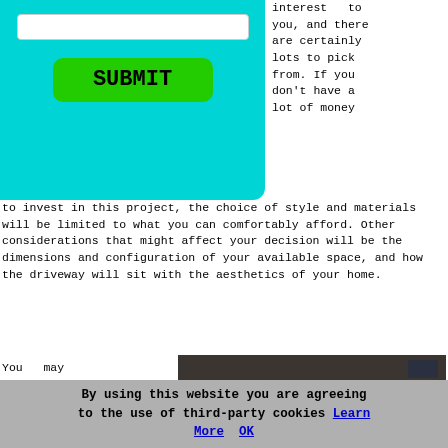[Figure (screenshot): Form area with a white input box and a green SUBMIT button on a teal/cyan background]
interest to you, and there are certainly lots to pick from. If you don't have a lot of money to invest in this project, the choice of style and materials will be limited to what you can comfortably afford. Other considerations that might affect your decision will be the dimensions and configuration of your available space, and how the driveway will sit with the aesthetics of your home.
You may just feel "a driveway is a driveway", however that simply isn't the case, since
[Figure (photo): A house exterior with a stone facade and two wooden garage doors with arched windows, and a paver driveway in front]
By using this website you are agreeing to the use of third-party cookies Learn More  OK